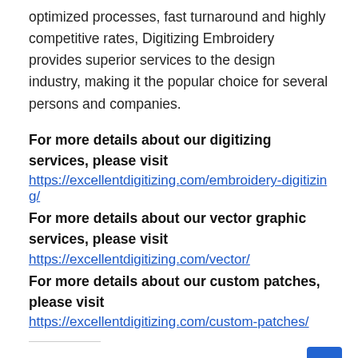optimized processes, fast turnaround and highly competitive rates, Digitizing Embroidery provides superior services to the design industry, making it the popular choice for several persons and companies.
For more details about our digitizing services, please visit
https://excellentdigitizing.com/embroidery-digitizing/
For more details about our vector graphic services, please visit
https://excellentdigitizing.com/vector/
For more details about our custom patches, please visit
https://excellentdigitizing.com/custom-patches/
Share this:
Twitter  Facebook